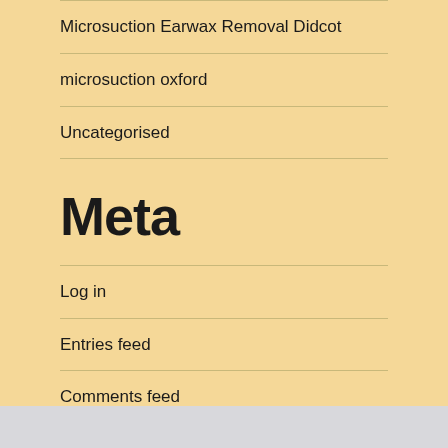Microsuction Earwax Removal Didcot
microsuction oxford
Uncategorised
Meta
Log in
Entries feed
Comments feed
WordPress.org